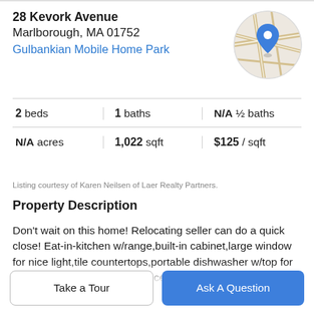28 Kevork Avenue
Marlborough, MA 01752
Gulbankian Mobile Home Park
[Figure (map): Circular map thumbnail showing street map with a blue location pin]
| 2 beds | 1 baths | N/A ½ baths |
| N/A acres | 1,022 sqft | $125 / sqft |
Listing courtesy of Karen Neilsen of Laer Realty Partners.
Property Description
Don't wait on this home! Relocating seller can do a quick close! Eat-in-kitchen w/range,built-in cabinet,large window for nice light,tile countertops,portable dishwasher w/top for extra counter area.Cathedral ceiling area in living room w/built in shelf & open to kitchen.New vinyl flooring in both
Take a Tour
Ask A Question